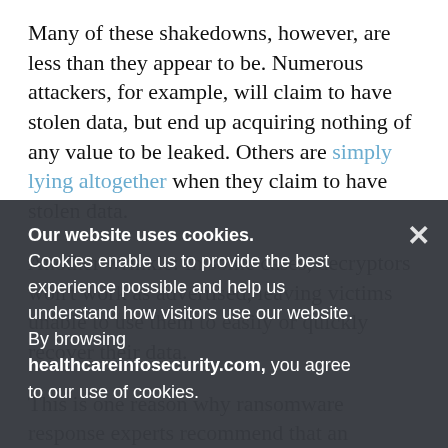Many of these shakedowns, however, are less than they appear to be. Numerous attackers, for example, will claim to have stolen data, but end up acquiring nothing of any value to be leaked. Others are simply lying altogether when they claim to have stolen data.
Another wrinkle: In some cases, decryptors won't work as advertised, leaving victims unable to use them to easily or quickly recover their data.
This is one reason why ransomware response experts recommend that an organization always work with a reputable incident response firm if they are considering paying a ransom. Such firms can guide a victim's response - based on intelligence about how a given set of attackers tends to negotiate and the likelihood that the victim will receive a working decryptor - or perhaps bring in a third-party service to rewrite the decryptor once
Our website uses cookies.
Cookies enable us to provide the best experience possible and help us understand how visitors use our website. By browsing healthcareinfosecurity.com, you agree to our use of cookies.